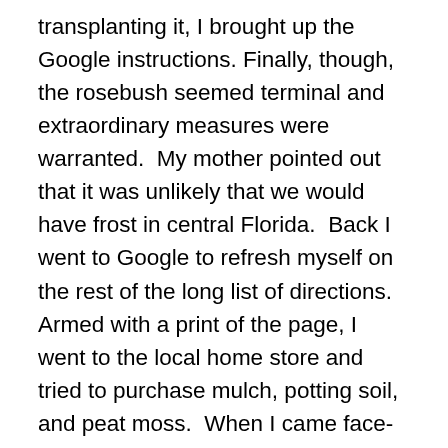transplanting it, I brought up the Google instructions. Finally, though, the rosebush seemed terminal and extraordinary measures were warranted.  My mother pointed out that it was unlikely that we would have frost in central Florida.  Back I went to Google to refresh myself on the rest of the long list of directions.  Armed with a print of the page, I went to the local home store and tried to purchase mulch, potting soil, and peat moss.  When I came face-to-face with the bags of these items, I discovered that I couldn't even pick up the smallest bag of each of them without the aid of a chiropractor.  Not to mention that the cost and quantity seemed to be pretty much overkill for one tiny rose plant.  As I tried to figure out how I was going to explain to my mother that transplanting this rosebush was not cost-